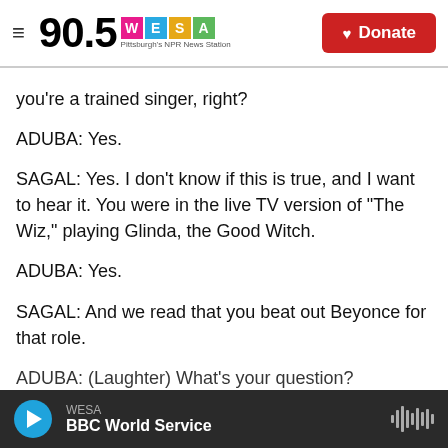90.5 WESA — Pittsburgh's NPR News Station | Donate
you're a trained singer, right?
ADUBA: Yes.
SAGAL: Yes. I don't know if this is true, and I want to hear it. You were in the live TV version of "The Wiz," playing Glinda, the Good Witch.
ADUBA: Yes.
SAGAL: And we read that you beat out Beyonce for that role.
ADUBA: (Laughter) What's your question?
WESA — BBC World Service